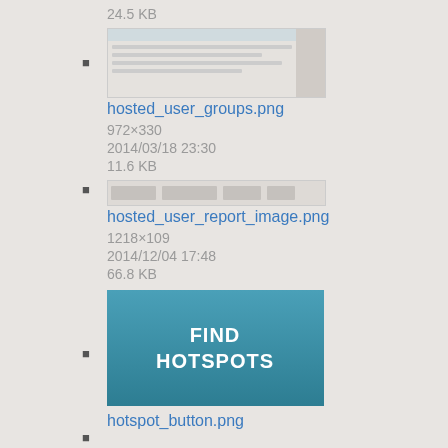24.5 KB
hosted_user_groups.png
972×330
2014/03/18 23:30
11.6 KB
hosted_user_report_image.png
1218×109
2014/12/04 17:48
66.8 KB
hotspot_button.png
146×86
2014/03/31 18:52
11.4 KB
hotspot_finder1.png